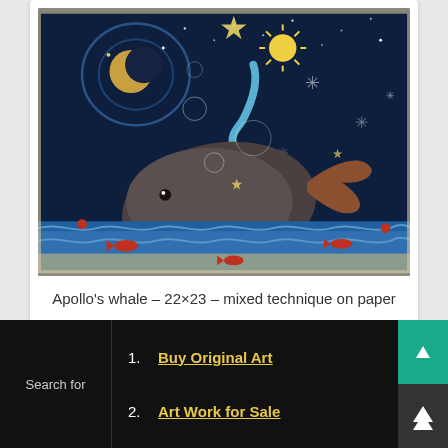[Figure (illustration): Painting titled Apollo's whale – a fantastical night-sky scene featuring a large whale swimming in blue ocean waves, with a mermaid riding on its back holding a glowing sun, surrounded by stars, a crescent moon, snowflakes, and small red fish in the water below.]
Apollo's whale – 22×23 – mixed technique on paper
[Figure (illustration): Partial view of another painting showing a blue-toned scene with a mermaid or figure floating against a dark background.]
Search for
1. Buy Original Art
2. Art Work for Sale